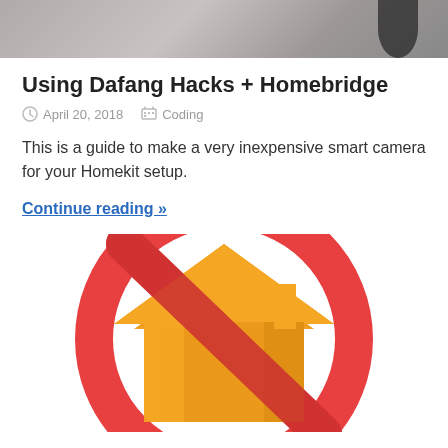[Figure (photo): Top cropped photo showing a gray metallic surface with a dark cable visible at the right edge]
Using Dafang Hacks + Homebridge
April 20, 2018   Coding
This is a guide to make a very inexpensive smart camera for your Homekit setup.
Continue reading »
[Figure (logo): Homebridge logo: an orange house icon overlaid with a red prohibition/no symbol (circle with diagonal slash), representing Homebridge integration icon]